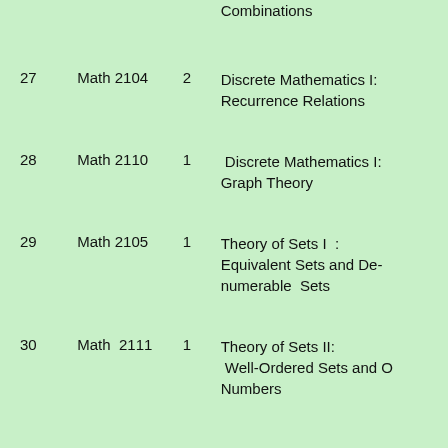| No. | Course Code | Cr. | Course Title |
| --- | --- | --- | --- |
|  |  |  | Combinations |
| 27 | Math 2104 | 2 | Discrete Mathematics I: Recurrence Relations |
| 28 | Math 2110 | 1 | Discrete Mathematics I: Graph Theory |
| 29 | Math 2105 | 1 | Theory of Sets I : Equivalent Sets and De-numerable Sets |
| 30 | Math 2111 | 1 | Theory of Sets II: Well-Ordered Sets and Ordinal Numbers |